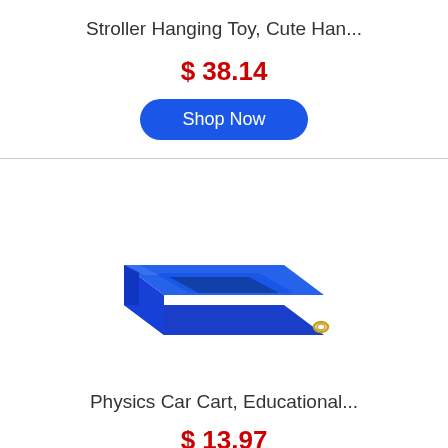Stroller Hanging Toy, Cute Han...
$ 38.14
Shop Now
[Figure (photo): Blue plastic physics car cart toy, a rectangular blue block with a recessed top compartment, stepped sides, and a small metal ring on the right side.]
Physics Car Cart, Educational...
$ 13.97